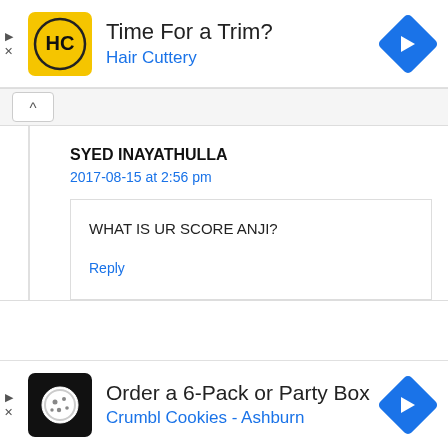[Figure (infographic): Hair Cuttery ad banner: yellow logo with HC, text 'Time For a Trim?' and 'Hair Cuttery', blue navigation diamond icon on right]
[Figure (screenshot): Comment section collapse bar with up-arrow button]
SYED INAYATHULLA
2017-08-15 at 2:56 pm
WHAT IS UR SCORE ANJI?
Reply
[Figure (infographic): Crumbl Cookies Ashburn ad banner: black logo with cookie icon, text 'Order a 6-Pack or Party Box' and 'Crumbl Cookies - Ashburn', blue navigation diamond icon on right]